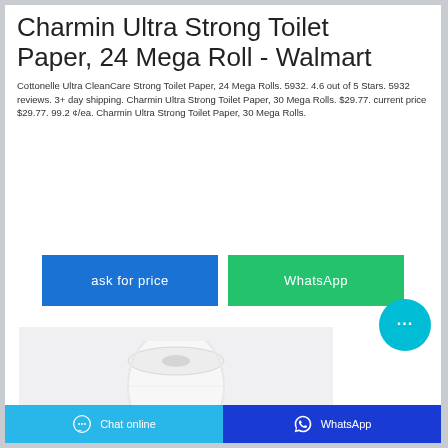Charmin Ultra Strong Toilet Paper, 24 Mega Roll - Walmart
Cottonelle Ultra CleanCare Strong Toilet Paper, 24 Mega Rolls. 5932. 4.6 out of 5 Stars. 5932 reviews. 3+ day shipping. Charmin Ultra Strong Toilet Paper, 30 Mega Rolls. $29.77. current price $29.77. 99.2 ¢/ea. Charmin Ultra Strong Toilet Paper, 30 Mega Rolls.
[Figure (screenshot): Blue 'ask for price' button and green 'WhatsApp' button side by side]
[Figure (photo): Photo of a white toilet paper roll on a light grey background]
Chat online  WhatsApp